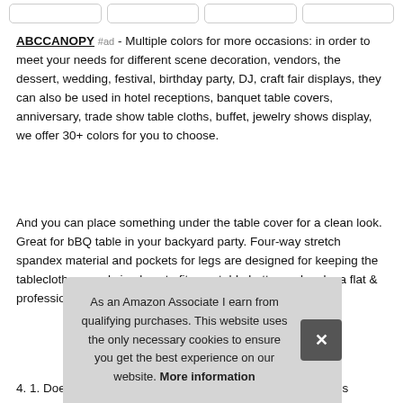ABCCANOPY #ad - Multiple colors for more occasions: in order to meet your needs for different scene decoration, vendors, the dessert, wedding, festival, birthday party, DJ, craft fair displays, they can also be used in hotel receptions, banquet table covers, anniversary, trade show table cloths, buffet, jewelry shows display, we offer 30+ colors for you to choose.
And you can place something under the table cover for a clean look. Great for bBQ table in your backyard party. Four-way stretch spandex material and pockets for legs are designed for keeping the tablecloth securely in place to fit your table better and make a flat & professional look so that your table cove
As an Amazon Associate I earn from qualifying purchases. This website uses the only necessary cookies to ensure you get the best experience on our website. More information
4. 1. Does not require ironing and can be laundered countles